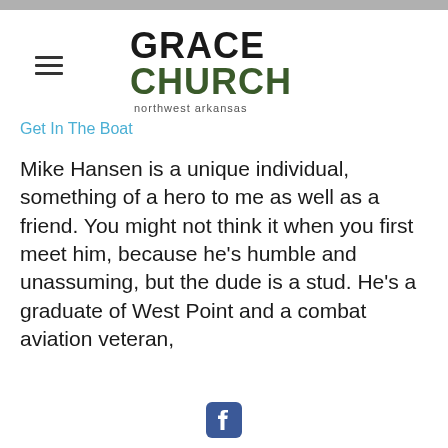GRACE CHURCH northwest arkansas
Get In The Boat
Mike Hansen is a unique individual, something of a hero to me as well as a friend. You might not think it when you first meet him, because he's humble and unassuming, but the dude is a stud. He's a graduate of West Point and a combat aviation veteran,
Facebook icon